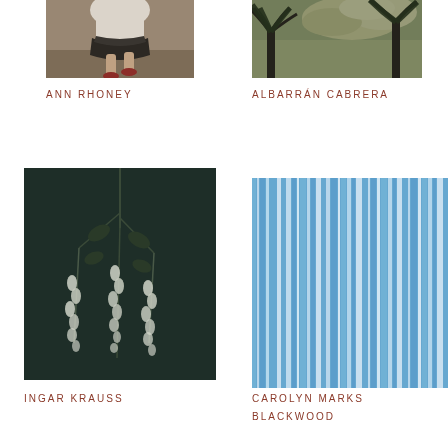[Figure (photo): Top-left: photograph of a person's legs from above, wearing a white skirt and red shoes, on a sandy/stone ground]
ANN RHONEY
[Figure (photo): Top-right: photograph of palm trees against a dramatic cloudy sky, painterly/vintage look]
ALBARRÁN CABRERA
[Figure (photo): Bottom-left: dark toned photograph of hanging plant stems with small white bell-shaped flowers, dark teal/green background]
INGAR KRAUSS
[Figure (photo): Bottom-right: abstract photograph of vertical blue and white streaks, resembling motion-blurred sky or water]
CAROLYN MARKS BLACKWOOD